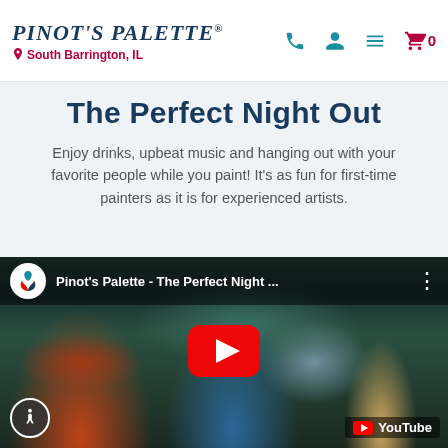Pinot's Palette - South Barrington, IL
The Perfect Night Out
Enjoy drinks, upbeat music and hanging out with your favorite people while you paint! It's as fun for first-time painters as it is for experienced artists.
[Figure (screenshot): YouTube video embed showing Pinot's Palette - The Perfect Night Out, with people raising wine glasses in a paint-and-sip setting. Red YouTube play button in center. YouTube logo bottom right. Accessibility icon bottom left.]